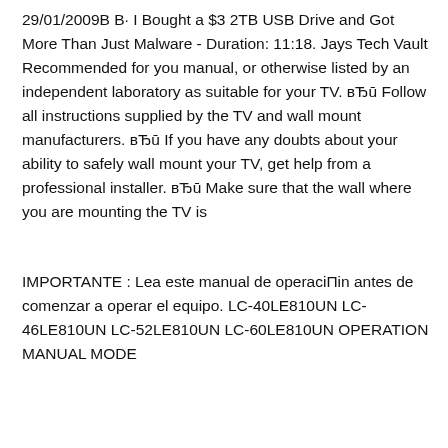29/01/2009В В· I Bought a $3 2TB USB Drive and Got More Than Just Malware - Duration: 11:18. Jays Tech Vault Recommended for you manual, or otherwise listed by an independent laboratory as suitable for your TV. вЂū Follow all instructions supplied by the TV and wall mount manufacturers. вЂū If you have any doubts about your ability to safely wall mount your TV, get help from a professional installer. вЂū Make sure that the wall where you are mounting the TV is
IMPORTANTE : Lea este manual de operaciПin antes de comenzar a operar el equipo. LC-40LE810UN LC-46LE810UN LC-52LE810UN LC-60LE810UN OPERATION MANUAL MODE